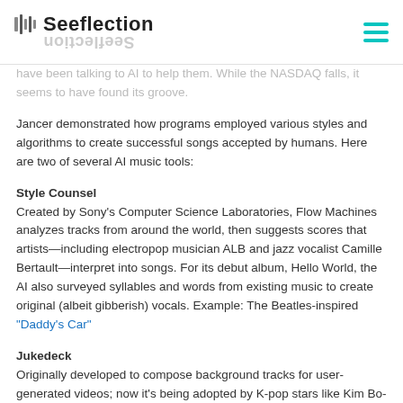Seeflection
have been talking to AI to help them. While the NASDAQ falls, it seems to have found its groove.
Jancer demonstrated how programs employed various styles and algorithms to create successful songs accepted by humans. Here are two of several AI music tools:
Style Counsel
Created by Sony's Computer Science Laboratories, Flow Machines analyzes tracks from around the world, then suggests scores that artists—including electropop musician ALB and jazz vocalist Camille Bertault—interpret into songs. For its debut album, Hello World, the AI also surveyed syllables and words from existing music to create original (albeit gibberish) vocals. Example: The Beatles-inspired "Daddy's Car"
Jukedeck
Originally developed to compose background tracks for user-generated videos; now it's being adopted by K-pop stars like Kim Bo-hyung and Highteen. Using deep neural networks, the AI predicts note sequences